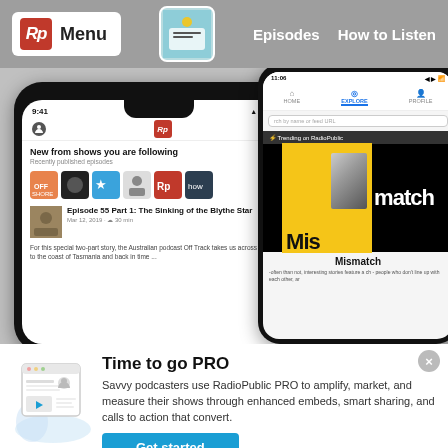Rp  Menu   Episodes  How to Listen
[Figure (screenshot): Two smartphone screenshots showing the RadioPublic app interface. Left phone shows 'New from shows you are following' feed with podcast thumbnails and Episode 55 Part 1: The Sinking of the Blythe Star. Right phone shows the Explore tab with 'Trending on RadioPublic' featuring the Mismatch podcast.]
Time to go PRO
Savvy podcasters use RadioPublic PRO to amplify, market, and measure their shows through enhanced embeds, smart sharing, and calls to action that convert.
Get started